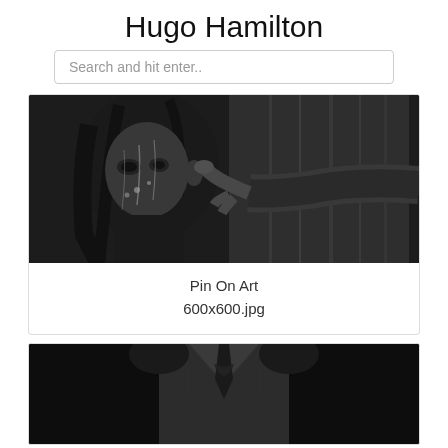Hugo Hamilton
Search and hit enter..
[Figure (illustration): Grayscale anime-style illustration of a dark-haired character being pointed at by a finger, with rain or water droplets, moody dark atmosphere.]
Pin On Art
600x600.jpg
[Figure (illustration): Grayscale anime-style illustration showing a character's neck and chest area with a tie, dark clothing, partial view cropped at bottom of page.]